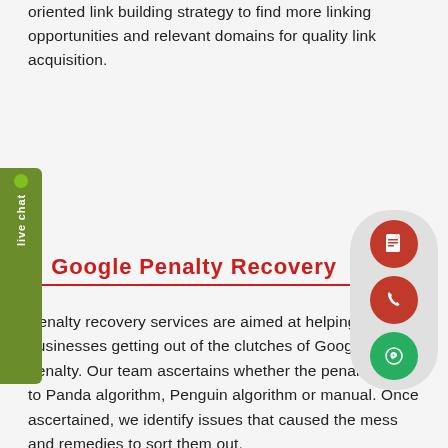oriented link building strategy to find more linking opportunities and relevant domains for quality link acquisition.
[Figure (other): Live chat sidebar tab with green dot indicator and vertical 'live chat' label on olive green background]
Google Penalty Recovery
[Figure (other): Floating action button panel with document icon (red), phone icon (red), and WhatsApp icon (green) on gray rounded rectangle background]
Penalty recovery services are aimed at helping businesses getting out of the clutches of Google penalty. Our team ascertains whether the penalty is due to Panda algorithm, Penguin algorithm or manual. Once ascertained, we identify issues that caused the mess and remedies to sort them out.